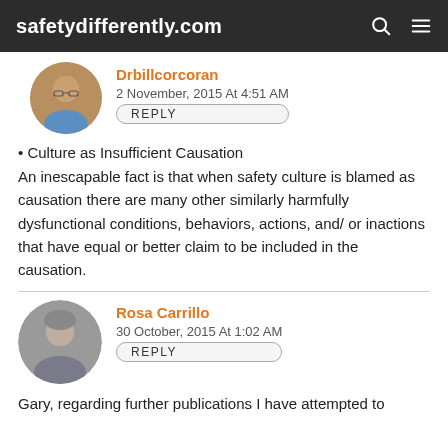safetydifferently.com
Drbillcorcoran
2 November, 2015 At 4:51 AM
REPLY
• Culture as Insufficient Causation
An inescapable fact is that when safety culture is blamed as causation there are many other similarly harmfully dysfunctional conditions, behaviors, actions, and/ or inactions that have equal or better claim to be included in the causation.
Rosa Carrillo
30 October, 2015 At 1:02 AM
REPLY
Gary, regarding further publications I have attempted to